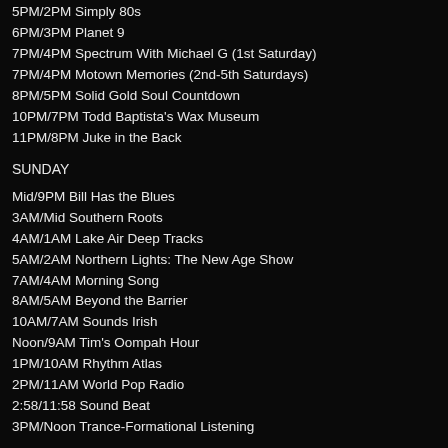5PM/2PM Simply 80s
6PM/3PM Planet 9
7PM/4PM Spectrum With Michael G (1st Saturday)
7PM/4PM Motown Memories (2nd-5th Saturdays)
8PM/5PM Solid Gold Soul Countdown
10PM/7PM Todd Baptista's Wax Museum
11PM/8PM Juke in the Back
SUNDAY
Mid/9PM Bill Has the Blues
3AM/Mid Southern Roots
4AM/1AM Lake Air Deep Tracks
5AM/2AM Northern Lights: The New Age Show
7AM/4AM Morning Song
8AM/5AM Beyond the Barrier
10AM/7AM Sounds Irish
Noon/9AM Tim's Oompah Hour
1PM/10AM Rhythm Atlas
2PM/11AM World Pop Radio
2:58/11:58 Sound Beat
3PM/Noon Trance-Formational Listening